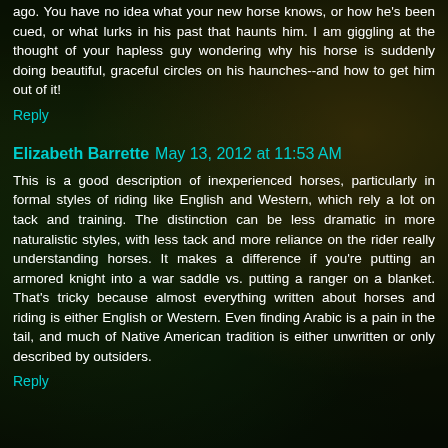ago. You have no idea what your new horse knows, or how he's been cued, or what lurks in his past that haunts him. I am giggling at the thought of your hapless guy wondering why his horse is suddenly doing beautiful, graceful circles on his haunches--and how to get him out of it!
Reply
Elizabeth Barrette  May 13, 2012 at 11:53 AM
This is a good description of inexperienced horses, particularly in formal styles of riding like English and Western, which rely a lot on tack and training. The distinction can be less dramatic in more naturalistic styles, with less tack and more reliance on the rider really understanding horses. It makes a difference if you're putting an armored knight into a war saddle vs. putting a ranger on a blanket. That's tricky because almost everything written about horses and riding is either English or Western. Even finding Arabic is a pain in the tail, and much of Native American tradition is either unwritten or only described by outsiders.
Reply